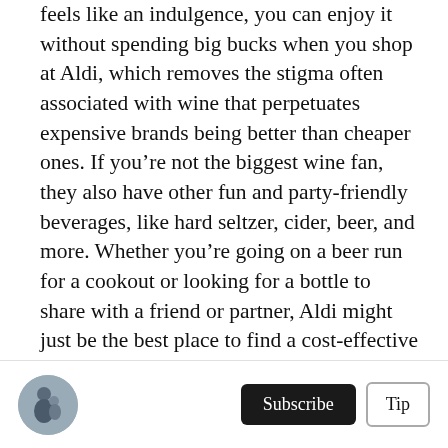feels like an indulgence, you can enjoy it without spending big bucks when you shop at Aldi, which removes the stigma often associated with wine that perpetuates expensive brands being better than cheaper ones. If you're not the biggest wine fan, they also have other fun and party-friendly beverages, like hard seltzer, cider, beer, and more. Whether you're going on a beer run for a cookout or looking for a bottle to share with a friend or partner, Aldi might just be the best place to find a cost-effective option that will leave you feeling satisfied.
Spices
[Figure (photo): Small circular avatar photo of a person holding a child]